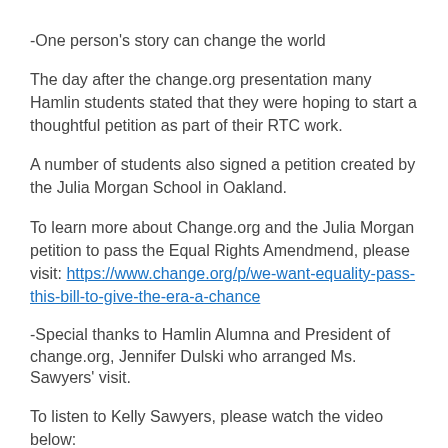-One person's story can change the world
The day after the change.org presentation many Hamlin students stated that they were hoping to start a thoughtful petition as part of their RTC work.
A number of students also signed a petition created by the Julia Morgan School in Oakland.
To learn more about Change.org and the Julia Morgan petition to pass the Equal Rights Amendmend, please visit: https://www.change.org/p/we-want-equality-pass-this-bill-to-give-the-era-a-chance
-Special thanks to Hamlin Alumna and President of change.org, Jennifer Dulski who arranged Ms. Sawyers' visit.
To listen to Kelly Sawyers, please watch the video below: